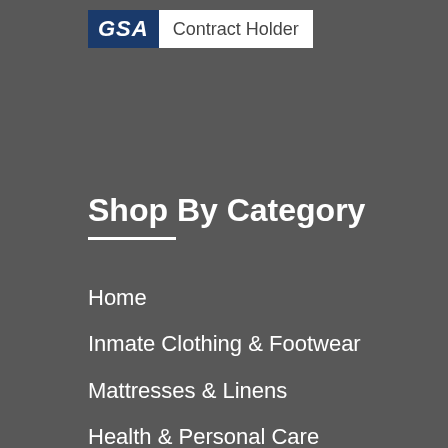[Figure (logo): GSA Contract Holder logo with blue GSA box on left and 'Contract Holder' text on white background]
Shop By Category
Home
Inmate Clothing & Footwear
Mattresses & Linens
Health & Personal Care
Facility
Officer Products
More